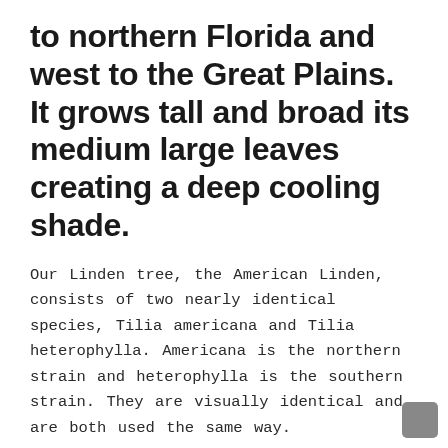to northern Florida and west to the Great Plains. It grows tall and broad its medium large leaves creating a deep cooling shade.
Our Linden tree, the American Linden, consists of two nearly identical species, Tilia americana and Tilia heterophylla. Americana is the northern strain and heterophylla is the southern strain. They are visually identical and are both used the same way.
Lindens are mostly found in forest areas in the wild. In the north they are in some areas a primary species. In the southern areas they are a relic of cooler times and are mostly found in deep valleys that are damp and shaded. The trees do fine in open